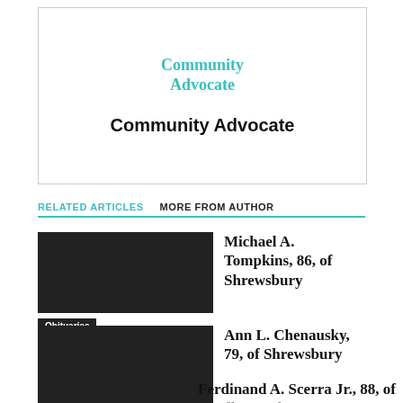[Figure (logo): Community Advocate logo – teal serif text reading 'Community Advocate' stacked on two lines]
Community Advocate
RELATED ARTICLES   MORE FROM AUTHOR
Michael A. Tompkins, 86, of Shrewsbury
Obituaries
Ann L. Chenausky, 79, of Shrewsbury
Obituaries
Ferdinand A. Scerra Jr., 88, of Marlborough